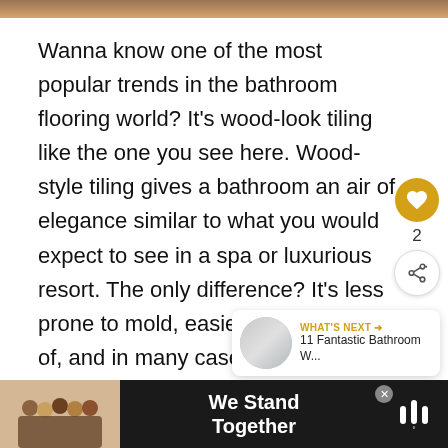[Figure (photo): Top strip showing partial image of bathroom flooring or decor]
Wanna know one of the most popular trends in the bathroom flooring world? It's wood-look tiling like the one you see here. Wood-style tiling gives a bathroom an air of elegance similar to what you would expect to see in a spa or luxurious resort. The only difference? It's less prone to mold, easier to take care of, and in many cases, cheaper.
[Figure (infographic): Social sharing UI: heart/like button (gold circle with heart icon), count of 2, and share button]
[Figure (infographic): Three navigation dots (gray circles) for image carousel]
[Figure (infographic): What's Next card with thumbnail image and text '11 Fantastic Bathroom W...']
[Figure (photo): Advertisement bar at bottom: group of people with backs turned, text 'We Stand Together', logo on right, close button]